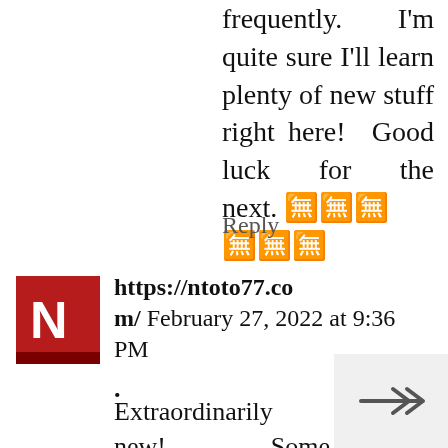frequently. I'm quite sure I'll learn plenty of new stuff right here! Good luck for the next. 댓글댓글
Reply
https://ntoto77.com/ February 27, 2022 at 9:36 PM
.
Extraordinarily new! Some extraordinarily sensible center interests! I'm especially